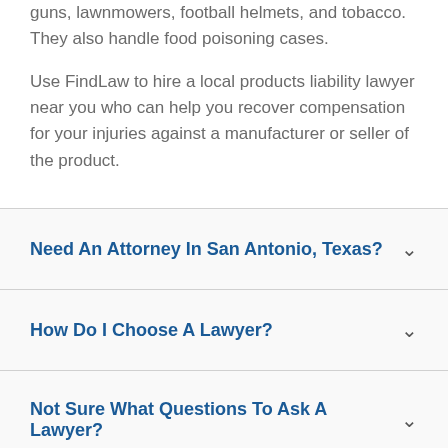guns, lawnmowers, football helmets, and tobacco. They also handle food poisoning cases.
Use FindLaw to hire a local products liability lawyer near you who can help you recover compensation for your injuries against a manufacturer or seller of the product.
Need An Attorney In San Antonio, Texas?
How Do I Choose A Lawyer?
Not Sure What Questions To Ask A Lawyer?
How Do You Find A Good Texas Lawyer?